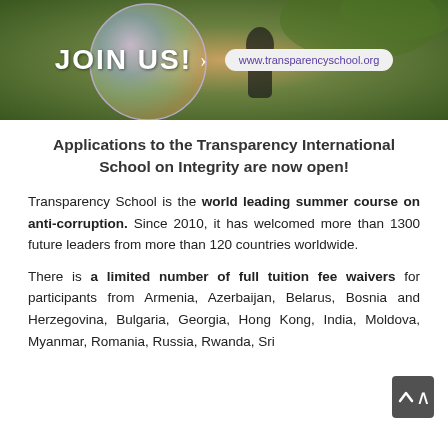[Figure (photo): Banner image showing a person with a large soap bubble outdoors, with text 'JOIN US!' and website www.transparencyschool.org]
Applications to the Transparency International School on Integrity are now open!
Transparency School is the world leading summer course on anti-corruption. Since 2010, it has welcomed more than 1300 future leaders from more than 120 countries worldwide.
There is a limited number of full tuition fee waivers for participants from Armenia, Azerbaijan, Belarus, Bosnia and Herzegovina, Bulgaria, Georgia, Hong Kong, India, Moldova, Myanmar, Romania, Russia, Rwanda, Sri